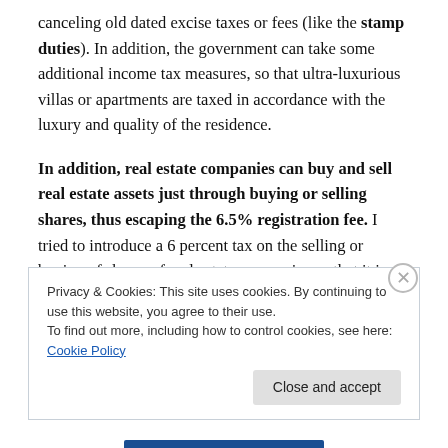canceling old dated excise taxes or fees (like the stamp duties). In addition, the government can take some additional income tax measures, so that ultra-luxurious villas or apartments are taxed in accordance with the luxury and quality of the residence.
In addition, real estate companies can buy and sell real estate assets just through buying or selling shares, thus escaping the 6.5% registration fee. I tried to introduce a 6 percent tax on the selling or buying of shares of real estate companies so that it is the same as
Privacy & Cookies: This site uses cookies. By continuing to use this website, you agree to their use.
To find out more, including how to control cookies, see here: Cookie Policy
Close and accept